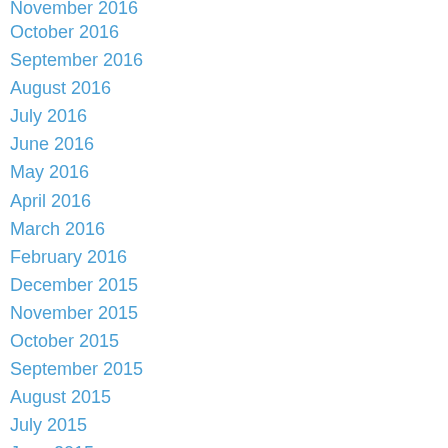November 2016
October 2016
September 2016
August 2016
July 2016
June 2016
May 2016
April 2016
March 2016
February 2016
December 2015
November 2015
October 2015
September 2015
August 2015
July 2015
June 2015
May 2015
April 2015
March 2015
February 2015